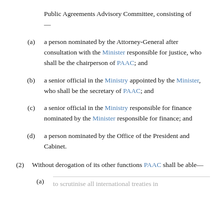Public Agreements Advisory Committee, consisting of —
(a) a person nominated by the Attorney-General after consultation with the Minister responsible for justice, who shall be the chairperson of PAAC; and
(b) a senior official in the Ministry appointed by the Minister, who shall be the secretary of PAAC; and
(c) a senior official in the Ministry responsible for finance nominated by the Minister responsible for finance; and
(d) a person nominated by the Office of the President and Cabinet.
(2) Without derogation of its other functions PAAC shall be able—
(a) to scrutinise all international treaties in